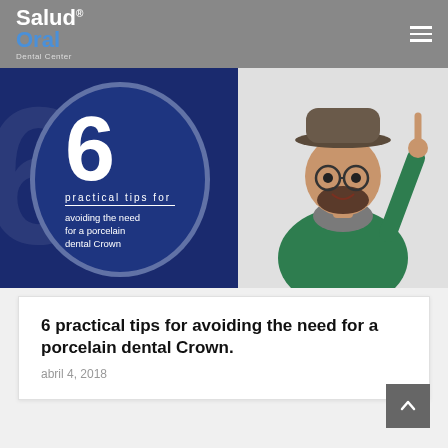Salud Oral Dental Center
[Figure (illustration): Promotional banner with dark navy background showing a large white number 6 inside a circle, with text 'practical tips for avoiding the need for a porcelain dental Crown', and a smiling man in a green sweater and hat pointing upward on the right side.]
6 practical tips for avoiding the need for a porcelain dental Crown.
abril 4, 2018